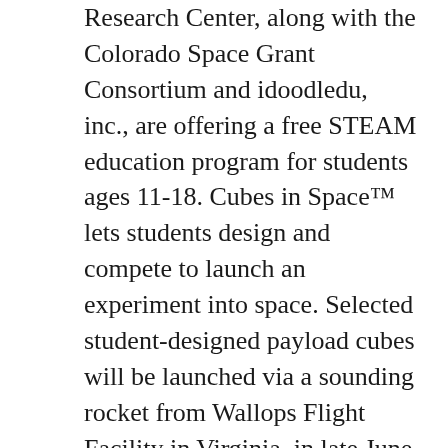Research Center, along with the Colorado Space Grant Consortium and idoodledu, inc., are offering a free STEAM education program for students ages 11-18. Cubes in Space™ lets students design and compete to launch an experiment into space. Selected student-designed payload cubes will be launched via a sounding rocket from Wallops Flight Facility in Virginia, in late June 2018 or from a high-altitude scientific balloon from NASA's Columbia Scientific Balloon Facility in New Mexico in late August 2018.
Registration closes on Feb. 2, 2018. For more information, visit http://www.cubesinspace.com/.